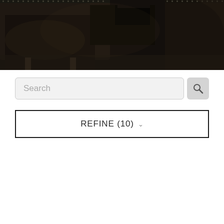[Figure (photo): Dark leather chairs/armchairs with nail head trim in a moody, dimly lit interior setting. A dark wooden side table is visible in the background.]
Search
REFINE (10)